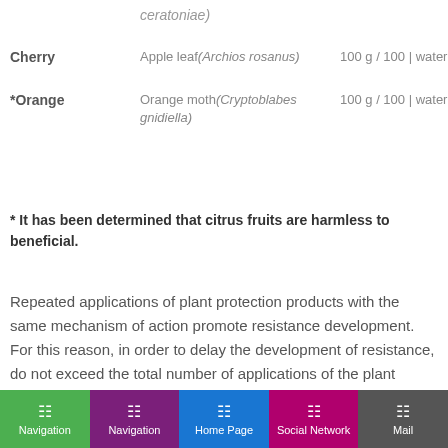|  | Pest | Dose |
| --- | --- | --- |
|  | ceratoniae) |  |
| Cherry | Apple leaf(Archios rosanus) | 100 g / 100 | waterlarva |
| *Orange | Orange moth(Cryptoblabes gnidiella) | 100 g / 100 | waterlarva |
* It has been determined that citrus fruits are harmless to beneficial.
Repeated applications of plant protection products with the same mechanism of action promote resistance development. For this reason, in order to delay the development of resistance, do not exceed the total number of applications of the plant protection product
Navigation | Navigation | Home Page | Social Network | Mail